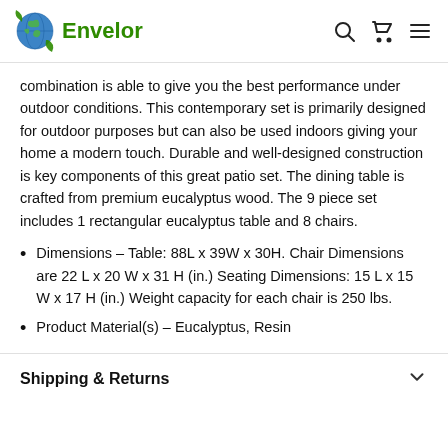Envelor
combination is able to give you the best performance under outdoor conditions. This contemporary set is primarily designed for outdoor purposes but can also be used indoors giving your home a modern touch. Durable and well-designed construction is key components of this great patio set. The dining table is crafted from premium eucalyptus wood. The 9 piece set includes 1 rectangular eucalyptus table and 8 chairs.
Dimensions – Table: 88L x 39W x 30H. Chair Dimensions are 22 L x 20 W x 31 H (in.) Seating Dimensions: 15 L x 15 W x 17 H (in.) Weight capacity for each chair is 250 lbs.
Product Material(s) – Eucalyptus, Resin
Shipping & Returns